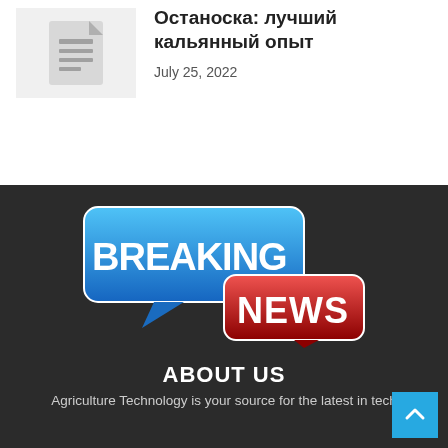[Figure (illustration): Document/article thumbnail icon on light gray background]
Останоска: лучший кальянный опыт
July 25, 2022
[Figure (logo): Breaking News logo: blue speech bubble with white bold text BREAKING NEWS, overlapping red speech bubble with white bold text NEWS, on dark background]
ABOUT US
Agriculture Technology is your source for the latest in tech